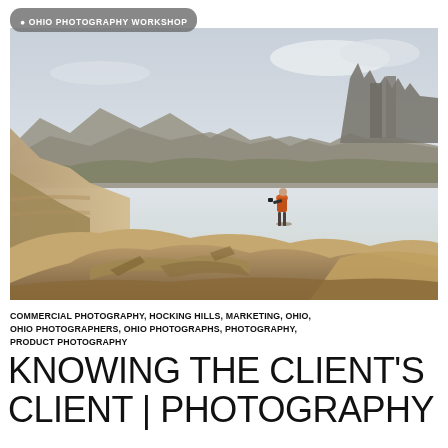OHIO PHOTOGRAPHY WORKSHOP
[Figure (photo): A photographer standing on rocky sandstone formations in a desert canyon landscape with layered mesa cliffs and mountains in the background under an overcast sky. The person wears an orange jacket and holds a camera.]
COMMERCIAL PHOTOGRAPHY, HOCKING HILLS, MARKETING, OHIO, OHIO PHOTOGRAPHERS, OHIO PHOTOGRAPHS, PHOTOGRAPHY, PRODUCT PHOTOGRAPHY
KNOWING THE CLIENT'S CLIENT | PHOTOGRAPHY